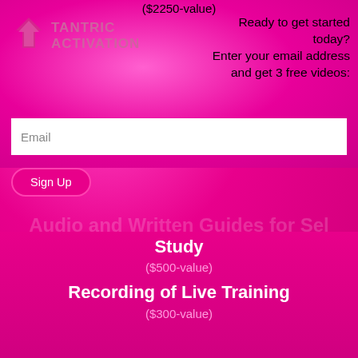($2250-value)
[Figure (logo): Tantric Activation logo with stylized icon and pink text]
Ready to get started today?
Enter your email address and get 3 free videos:
Email
Sign Up
Audio and Written Guides for Self Study
($500-value)
Recording of Live Training
($300-value)